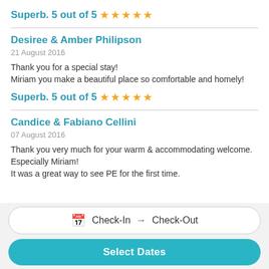Superb. 5 out of 5 ★★★★★
Desiree & Amber Philipson
21 August 2016
Thank you for a special stay!
Miriam you make a beautiful place so comfortable and homely!
Superb. 5 out of 5 ★★★★★
Candice & Fabiano Cellini
07 August 2016
Thank you very much for your warm & accommodating welcome.
Especially Miriam!
It was a great way to see PE for the first time.
Check-In → Check-Out
Select Dates